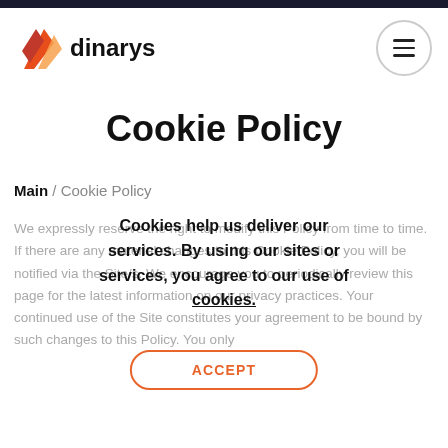dinarys [logo] / [menu button]
Cookie Policy
Main / Cookie Policy
We expressly reserve the right to modify this Policy from time to time. If there are any material changes to this Cookie Policy, you will be notified via the Site/s. We encourage you to periodically review this page for the latest information on our privacy practices. Your continued use of the Site constitutes your agreement to be bound by such changes to this Policy. You only
Cookies help us deliver our services. By using our sites or services, you agree to our use of cookies.
ACCEPT